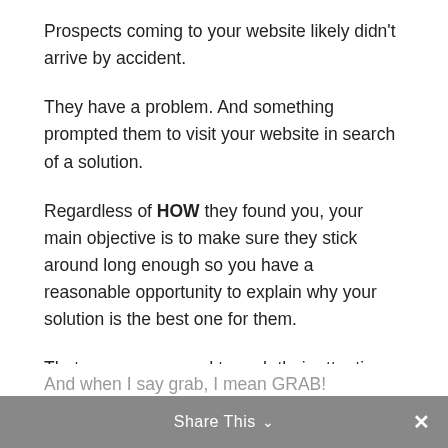Prospects coming to your website likely didn't arrive by accident.
They have a problem. And something prompted them to visit your website in search of a solution.
Regardless of HOW they found you, your main objective is to make sure they stick around long enough so you have a reasonable opportunity to explain why your solution is the best one for them.
That means you need to grab their attention.
And when I say grab, I mean GRAB!
Share This ∨  ✕